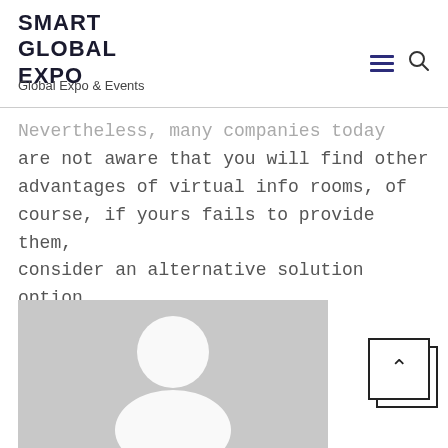SMART GLOBAL EXPO
Global Expo & Events
Nevertheless, many companies today are not aware that you will find other advantages of virtual info rooms, of course, if yours fails to provide them, consider an alternative solution option.
[Figure (photo): Placeholder avatar image with grey background and white silhouette person icon]
[Figure (other): Back to top button — square icon with upward chevron arrow]